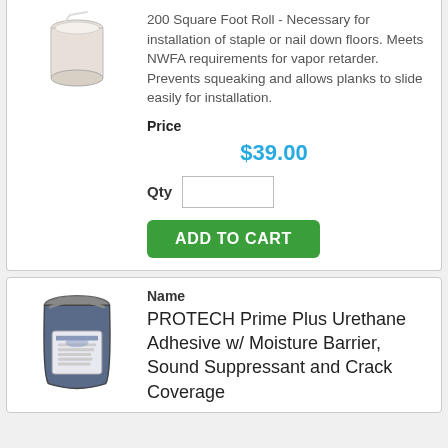200 Square Foot Roll - Necessary for installation of staple or nail down floors. Meets NWFA requirements for vapor retarder. Prevents squeaking and allows planks to slide easily for installation.
Price
$39.00
Qty
ADD TO CART
Name
PROTECH Prime Plus Urethane Adhesive w/ Moisture Barrier, Sound Suppressant and Crack Coverage